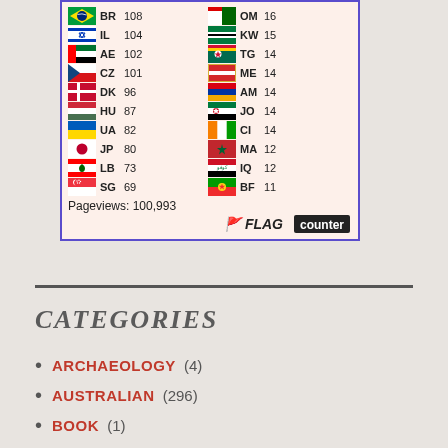[Figure (infographic): Flag counter widget showing country flags with two-letter codes and visitor counts. Countries listed: BR 108, IL 104, AE 102, CZ 101, DK 96, HU 87, UA 82, JP 80, LB 73, SG 69 on left column; OM 16, KW 15, TG 14, ME 14, AM 14, JO 14, CI 14, MA 12, IQ 12, BF 11 on right column. Pageviews: 100,993. FLAG counter logo at bottom.]
CATEGORIES
ARCHAEOLOGY (4)
AUSTRALIAN (296)
BOOK (1)